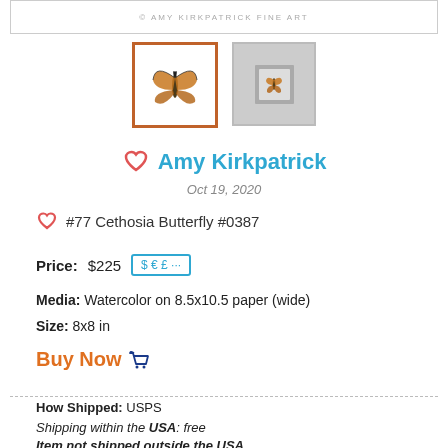[Figure (screenshot): Top banner with Amy Kirkpatrick Fine Art watermark text]
[Figure (photo): Two thumbnail images of butterfly artwork: first with orange border showing butterfly on white background, second with gray border showing framed butterfly on gray background]
Amy Kirkpatrick
Oct 19, 2020
#77 Cethosia Butterfly #0387
Price: $225  $ € £ ···
Media: Watercolor on 8.5x10.5 paper (wide)
Size: 8x8 in
Buy Now
How Shipped: USPS
Shipping within the USA: free
Item not shipped outside the USA